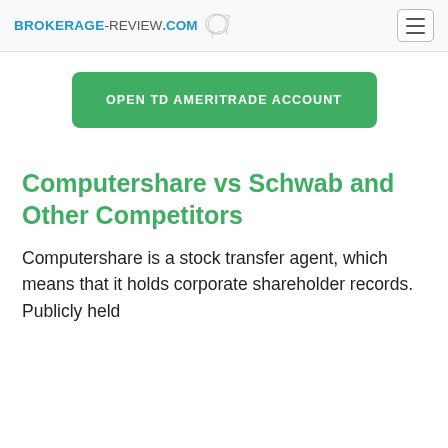BROKERAGE-REVIEW.COM
OPEN TD AMERITRADE ACCOUNT
Computershare vs Schwab and Other Competitors
Computershare is a stock transfer agent, which means that it holds corporate shareholder records. Publicly held